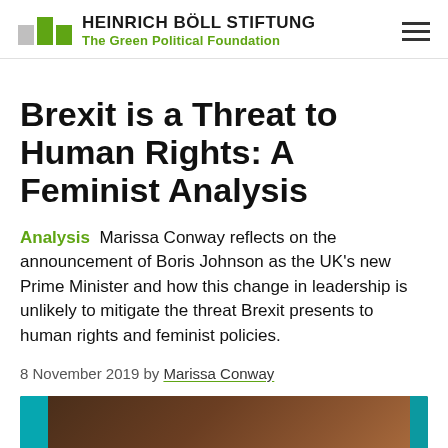HEINRICH BÖLL STIFTUNG — The Green Political Foundation
Brexit is a Threat to Human Rights: A Feminist Analysis
Analysis  Marissa Conway reflects on the announcement of Boris Johnson as the UK's new Prime Minister and how this change in leadership is unlikely to mitigate the threat Brexit presents to human rights and feminist policies.
8 November 2019 by Marissa Conway
[Figure (photo): Partial view of a photograph showing brown/dark earth tones with teal/cyan colored elements visible at the left and right edges, consistent with a protest sign or outdoor scene.]